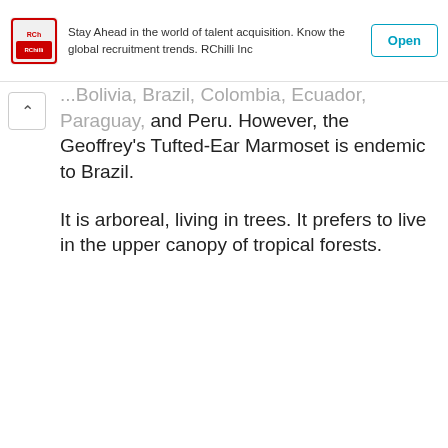[Figure (screenshot): Advertisement banner: RChilli Inc logo on left, text 'Stay Ahead in the world of talent acquisition. Know the global recruitment trends. RChilli Inc', and an 'Open' button on the right.]
...Bolivia, Brazil, Colombia, Ecuador, Paraguay, and Peru. However, the Geoffrey's Tufted-Ear Marmoset is endemic to Brazil.
It is arboreal, living in trees. It prefers to live in the upper canopy of tropical forests.